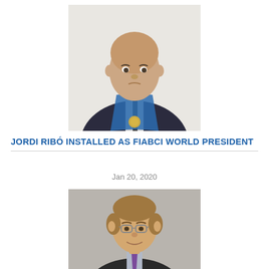[Figure (photo): Formal portrait of a bald man in a dark suit wearing a blue sash and medallion, looking directly at the camera against a white background.]
JORDI RIBÓ INSTALLED AS FIABCI WORLD PRESIDENT
Jan 20, 2020
[Figure (photo): Portrait of a middle-aged man with light brown hair wearing glasses, a dark suit, and purple tie, smiling against a grey background.]